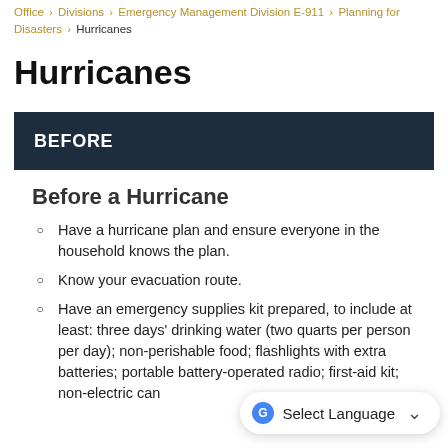Office › Divisions › Emergency Management Division E-911 › Planning for Disasters › Hurricanes
Hurricanes
BEFORE
Before a Hurricane
Have a hurricane plan and ensure everyone in the household knows the plan.
Know your evacuation route.
Have an emergency supplies kit prepared, to include at least: three days' drinking water (two quarts per person per day); non-perishable food; flashlights with extra batteries; portable battery-operated radio; first-aid kit; non-electric can